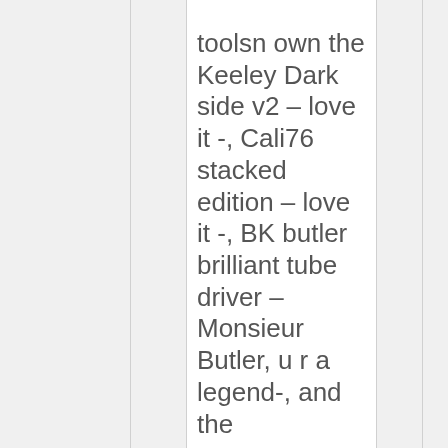toolsn own the Keeley Dark side v2 – love it -, Cali76 stacked edition – love it -, BK butler brilliant tube driver – Monsieur Butler, u r a legend-, and the